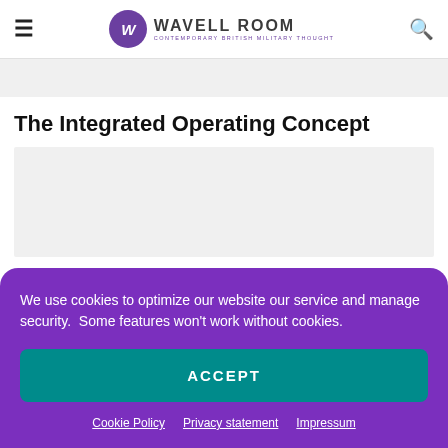Wavell Room — Contemporary British Military Thought
[Figure (other): Grey placeholder banner area at top of page]
The Integrated Operating Concept
[Figure (other): Grey content placeholder/image area below article title]
We use cookies to optimize our website our service and manage security.  Some features won't work without cookies.
ACCEPT
Cookie Policy · Privacy statement · Impressum